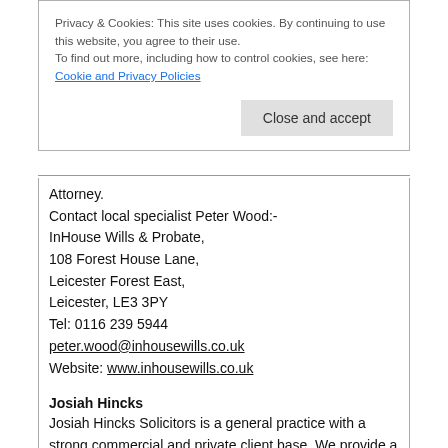Privacy & Cookies: This site uses cookies. By continuing to use this website, you agree to their use.
To find out more, including how to control cookies, see here: Cookie and Privacy Policies
Close and accept
Attorney.
Contact local specialist Peter Wood:-
InHouse Wills & Probate,
108 Forest House Lane,
Leicester Forest East,
Leicester, LE3 3PY
Tel: 0116 239 5944
peter.wood@inhousewills.co.uk
Website: www.inhousewills.co.uk
Josiah Hincks
Josiah Hincks Solicitors is a general practice with a strong commercial and private client base. We provide a variety of services in the commercial market ranging from Commercial Conveyancing to Employment law and